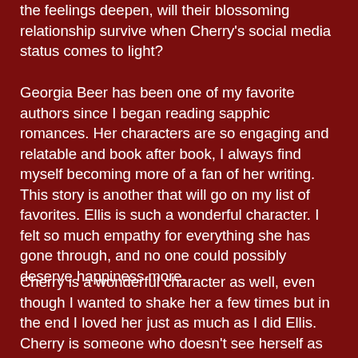the feelings deepen, will their blossoming relationship survive when Cherry's social media status comes to light?
Georgia Beer has been one of my favorite authors since I began reading sapphic romances. Her characters are so engaging and relatable and book after book, I always find myself becoming more of a fan of her writing. This story is another that will go on my list of favorites. Ellis is such a wonderful character. I felt so much empathy for everything she has gone through, and no one could possibly deserve happiness more.
Cherry is a wonderful character as well, even though I wanted to shake her a few times but in the end I loved her just as much as I did Ellis. Cherry is someone who doesn't see herself as being enough and tries so hard to cultivate an image of what she